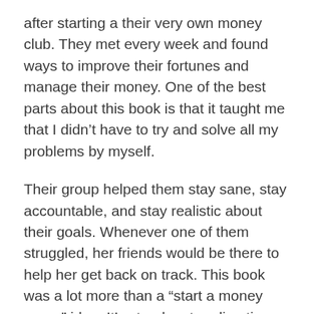after starting a their very own money club. They met every week and found ways to improve their fortunes and manage their money. One of the best parts about this book is that it taught me that I didn't have to try and solve all my problems by myself.
Their group helped them stay sane, stay accountable, and stay realistic about their goals. Whenever one of them struggled, her friends would be there to help her get back on track. This book was a lot more than a “start a money group” idea. It’s step-by-step directions for getting past your own money traps and being successful. A highly recommended read!